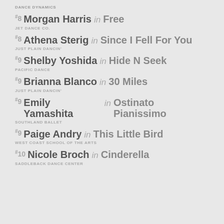DANCE DYNAMICS
#8 Morgan Harris in Free
JET DANCE CO.
#8 Athena Sterig in Since I Fell For You
JUST PLAIN DANCIN'
#9 Shelby Yoshida in Hide N Seek
PACIFIC DANCE
#9 Brianna Blanco in 30 Miles
JUST PLAIN DANCIN'
#9 Emily Yamashita in Ostinato Pianissimo
SOUTHLAND BALLET
#9 Paige Andry in This Little Bird
WEST COAST SCHOOL OF THE ARTS
#10 Nicole Broch in Cinderella
SADDLEBACK DANCE CENTER